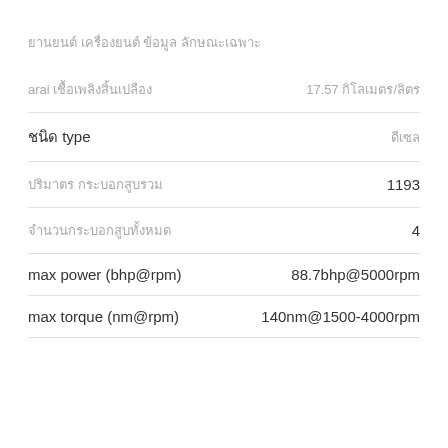ยานยนต์ เครื่องยนต์ ข้อมูล ลักษณะเฉพาะ
| label | value |
| --- | --- |
| arai เชื้อเพลิงสิ้นเปลือง | 17.57 กิโลเมตร/ลิตร |
| ชนิด type | ดีเซล |
| ปริมาตร กระบอกสูบรวม | 1193 |
| จำนวนกระบอกสูบทั้งหมด | 4 |
| max power (bhp@rpm) | 88.7bhp@5000rpm |
| max torque (nm@rpm) | 140nm@1500-4000rpm |